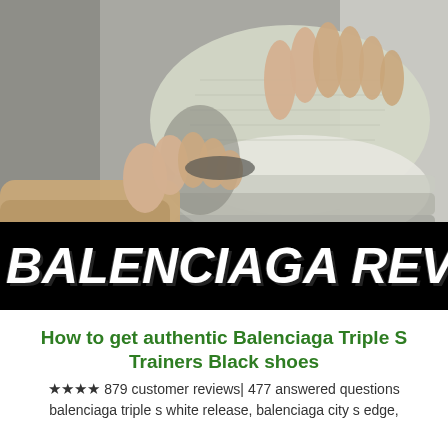[Figure (photo): Hands holding up a Balenciaga Triple S sneaker, showing the sole and bottom of the shoe against a grey background. Person wearing a tan/beige sweater.]
BALENCIAGA REVIEW
How to get authentic Balenciaga Triple S Trainers Black shoes
★★★★ 879 customer reviews| 477 answered questions
balenciaga triple s white release, balenciaga city s edge,